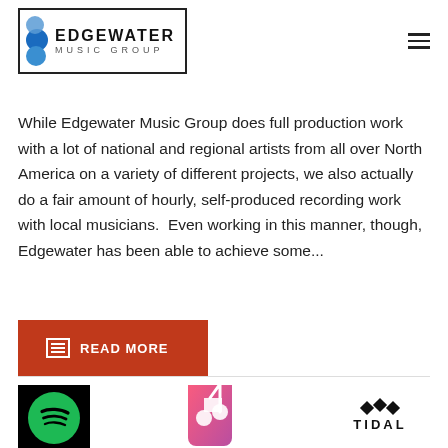EDGEWATER MUSIC GROUP
While Edgewater Music Group does full production work with a lot of national and regional artists from all over North America on a variety of different projects, we also actually do a fair amount of hourly, self-produced recording work with local musicians.  Even working in this manner, though, Edgewater has been able to achieve some...
[Figure (other): Red READ MORE button with list icon]
[Figure (other): Spotify, Apple Music, and Tidal logos displayed in a row]